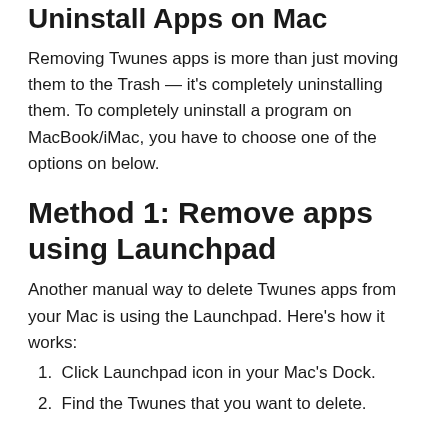Uninstall Apps on Mac
Removing Twunes apps is more than just moving them to the Trash — it's completely uninstalling them. To completely uninstall a program on MacBook/iMac, you have to choose one of the options on below.
Method 1: Remove apps using Launchpad
Another manual way to delete Twunes apps from your Mac is using the Launchpad. Here's how it works:
1. Click Launchpad icon in your Mac's Dock.
2. Find the Twunes that you want to delete.